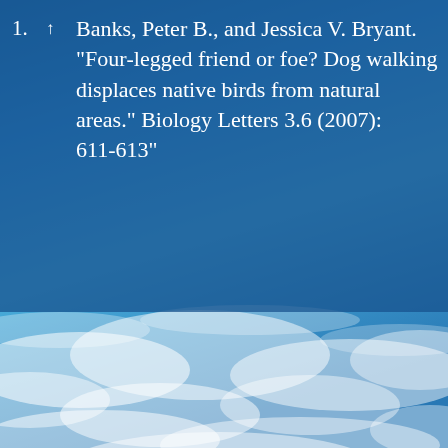[Figure (photo): Blue sky with wispy white clouds forming the page background, with a semi-transparent dark blue overlay on the upper portion containing a bibliography list item.]
Banks, Peter B., and Jessica V. Bryant. "Four-legged friend or foe? Dog walking displaces native birds from natural areas." Biology Letters 3.6 (2007): 611-613"
IT'S ONLY FAIR TO SHARE